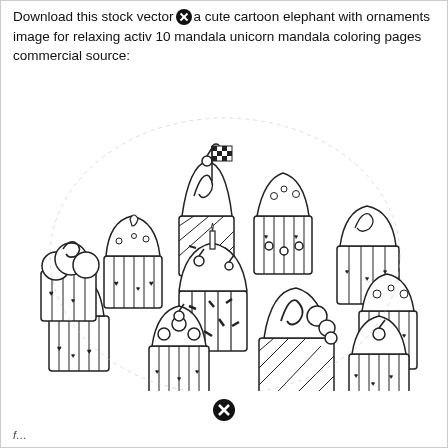Download this stock vector a cute cartoon elephant with ornaments image for relaxing activ 10 mandala unicorn mandala coloring pages commercial source:
[Figure (illustration): A black and white coloring page illustration depicting a large circular arrangement of many detailed cartoon cupcakes with various decorations including swirls, sprinkles, hearts, cherries, and striped wrappers, arranged in a mandala-like cluster filling the page.]
[Figure (other): A circular close/cancel icon (X inside circle) at the bottom center of the page.]